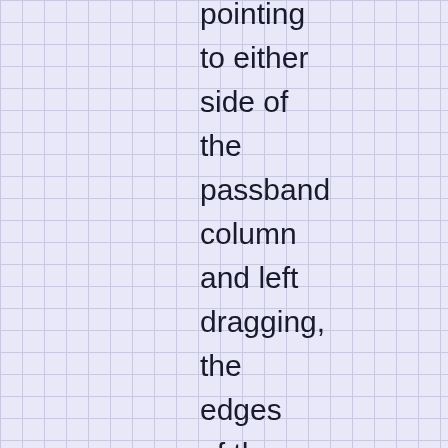pointing to either side of the passband column and left dragging, the edges of the passband can be individually shifted. By right dragging, the entire passband can be shifted to effect passband tuning